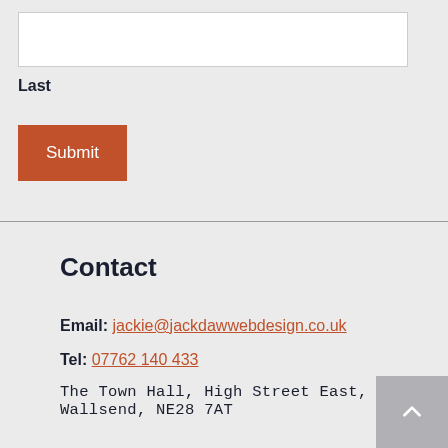(text input box — Last name field)
Last
Submit
Contact
Email: jackie@jackdawwebdesign.co.uk
Tel: 07762 140 433
The Town Hall, High Street East, Wallsend, NE28 7AT